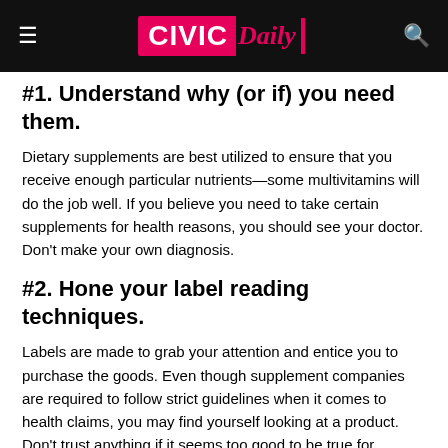CIVIC Daily
#1. Understand why (or if) you need them.
Dietary supplements are best utilized to ensure that you receive enough particular nutrients—some multivitamins will do the job well. If you believe you need to take certain supplements for health reasons, you should see your doctor. Don't make your own diagnosis.
#2. Hone your label reading techniques.
Labels are made to grab your attention and entice you to purchase the goods. Even though supplement companies are required to follow strict guidelines when it comes to health claims, you may find yourself looking at a product. Don't trust anything if it seems too good to be true for supplements and health claims. Examine the supplement ingredients to ensure safety of the bottle...